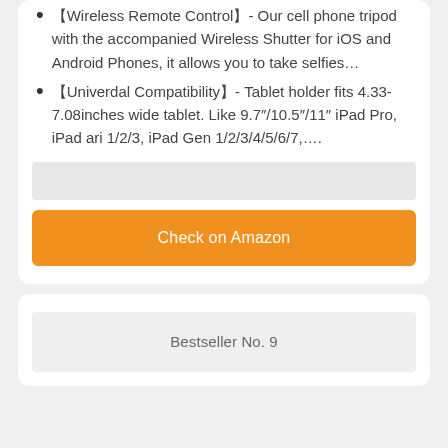【Wireless Remote Control】- Our cell phone tripod with the accompanied Wireless Shutter for iOS and Android Phones, it allows you to take selfies…
【Univerdal Compatibility】- Tablet holder fits 4.33-7.08inches wide tablet. Like 9.7"/10.5"/11" iPad Pro, iPad ari 1/2/3, iPad Gen 1/2/3/4/5/6/7,….
Check on Amazon
Bestseller No. 9